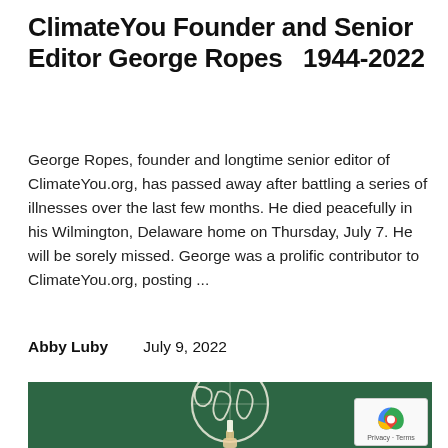ClimateYou Founder and Senior Editor George Ropes   1944-2022
George Ropes, founder and longtime senior editor of ClimateYou.org, has passed away after battling a series of illnesses over the last few months. He died peacefully in his Wilmington, Delaware home on Thursday, July 7. He will be sorely missed. George was a prolific contributor to ClimateYou.org, posting ...
Abby Luby    July 9, 2022
[Figure (photo): A chalkboard with a hand-drawn globe/world map in white chalk on a dark green background. A hand holding chalk is visible at the bottom.]